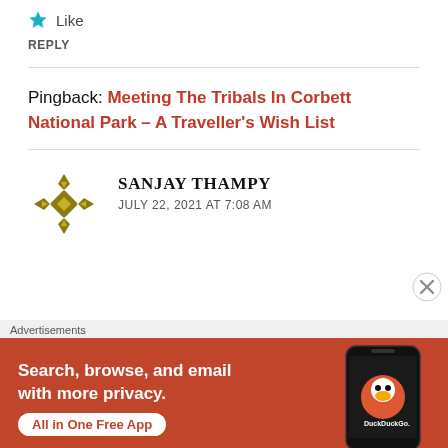★ Like
REPLY
Pingback: Meeting The Tribals In Corbett National Park – A Traveller's Wish List
[Figure (illustration): Decorative geometric avatar icon in olive/dark yellow color, resembling a cross or compass rose pattern]
SANJAY THAMPY
JULY 22, 2021 AT 7:08 AM
[Figure (screenshot): Advertisement banner: DuckDuckGo app ad with orange/red background. Text: Search, browse, and email with more privacy. All in One Free App. Shows phone with DuckDuckGo logo.]